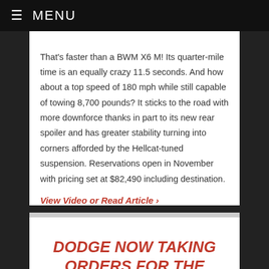≡ MENU
That's faster than a BWM X6 M! Its quarter-mile time is an equally crazy 11.5 seconds. And how about a top speed of 180 mph while still capable of towing 8,700 pounds? It sticks to the road with more downforce thanks in part to its new rear spoiler and has greater stability turning into corners afforded by the Hellcat-tuned suspension. Reservations open in November with pricing set at $82,490 including destination.
View Video or Read Article ›
DODGE NOW TAKING ORDERS FOR THE MOST POWERFUL SUV EVER
Posted on August 27, 2020 by TDN News